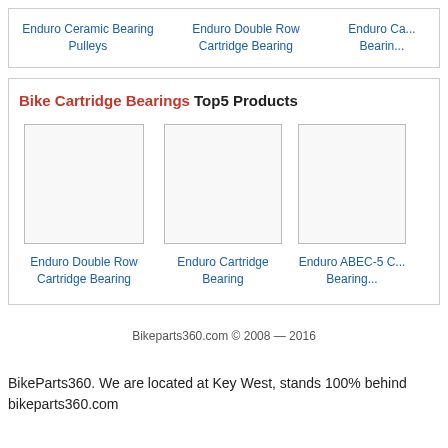Enduro Ceramic Bearing Pulleys | Enduro Double Row Cartridge Bearing | Enduro Ca... Bearin...
Bike Cartridge Bearings Top5 Products
[Figure (other): Product image placeholder box for Enduro Double Row Cartridge Bearing]
Enduro Double Row Cartridge Bearing
[Figure (other): Product image placeholder box for Enduro Cartridge Bearing]
Enduro Cartridge Bearing
[Figure (other): Product image placeholder box for Enduro ABEC-5 C... Bearing...]
Enduro ABEC-5 C... Bearing...
Bikeparts360.com © 2008 — 2016
BikeParts360. We are located at Key West, stands 100% behind bikeparts360.com